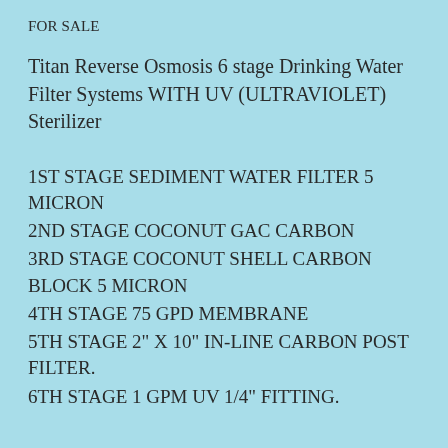FOR SALE
Titan Reverse Osmosis 6 stage Drinking Water Filter Systems WITH UV (ULTRAVIOLET) Sterilizer
1ST STAGE SEDIMENT WATER FILTER 5 MICRON
2ND STAGE COCONUT GAC CARBON
3RD STAGE COCONUT SHELL CARBON BLOCK 5 MICRON
4TH STAGE 75 GPD MEMBRANE
5TH STAGE 2" X 10" IN-LINE CARBON POST FILTER.
6TH STAGE 1 GPM UV 1/4" FITTING.